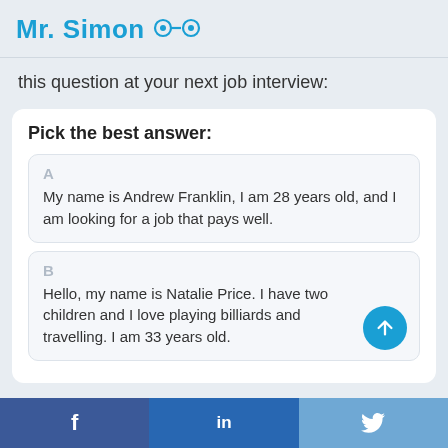Mr. Simon
this question at your next job interview:
Pick the best answer:
A — My name is Andrew Franklin, I am 28 years old, and I am looking for a job that pays well.
B — Hello, my name is Natalie Price. I have two children and I love playing billiards and travelling. I am 33 years old.
f  in  (Twitter bird)